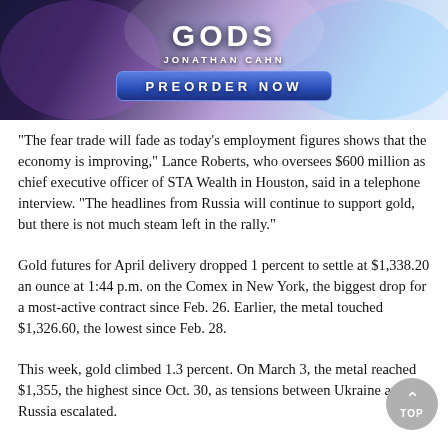[Figure (illustration): Book advertisement banner for 'Gods' by Jonathan Cahn with a 'PREORDER NOW' button on a purple/blue cosmic background.]
“The fear trade will fade as today’s employment figures shows that the economy is improving,” Lance Roberts, who oversees $600 million as chief executive officer of STA Wealth in Houston, said in a telephone interview. “The headlines from Russia will continue to support gold, but there is not much steam left in the rally.”
Gold futures for April delivery dropped 1 percent to settle at $1,338.20 an ounce at 1:44 p.m. on the Comex in New York, the biggest drop for a most-active contract since Feb. 26. Earlier, the metal touched $1,326.60, the lowest since Feb. 28.
This week, gold climbed 1.3 percent. On March 3, the metal reached $1,355, the highest since Oct. 30, as tensions between Ukraine and Russia escalated.